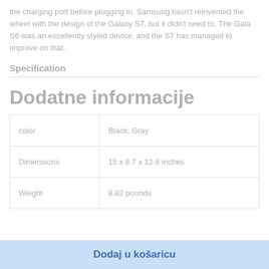the charging port before plugging in. Samsung hasn't reinvented the wheel with the design of the Galaxy S7, but it didn't need to. The Gala S6 was an excellently styled device, and the S7 has managed to improve on that.
Specification
Dodatne informacije
| color | Black, Gray |
| Dimensions | 15 x 8.7 x 12.8 inches |
| Weight | 8.82 pounds |
Dodaj u košaricu